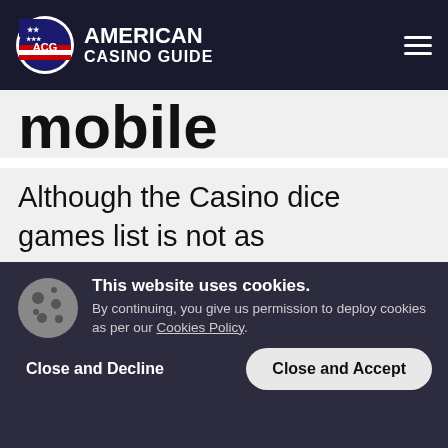AMERICAN CASINO GUIDE
mobile
Although the Casino dice games list is not as comprehensive when compared to online slots and table games, you can still find a wide range of dice games to play. You can even find casinos that let you play the best dice games using iOS, Windows, or Android
This website uses cookies. By continuing, you give us permission to deploy cookies as per our Cookies Policy.
Close and Decline
Close and Accept